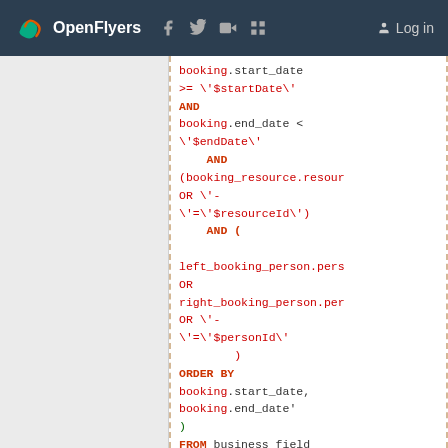OpenFlyers — Log in
[Figure (screenshot): Code snippet showing SQL query fragment with booking date conditions, resource and person filters, ORDER BY clause, and FROM business_field WHERE clause, displayed in a code editor with red text on white background.]